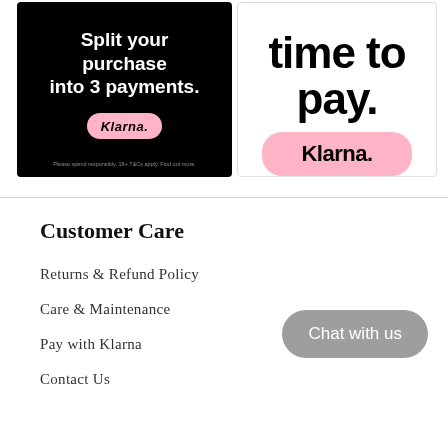[Figure (screenshot): Klarna promotional banner (black background): 'Split your purchase into 3 payments.' with pink Klarna badge and small print disclaimer.]
[Figure (screenshot): Klarna promotional banner (white background): large bold text 'time to pay.' partially visible at top, pink Klarna rounded button at bottom.]
Customer Care
Returns & Refund Policy
Care & Maintenance
Pay with Klarna
Contact Us